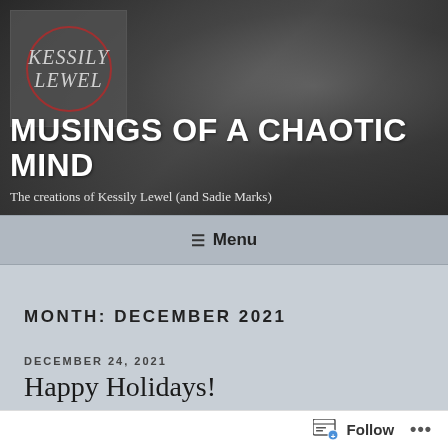[Figure (photo): Hero banner with grayscale background showing leather/mechanical objects, overlaid with blog logo (Kessily Lewel in a red circle on dark square), blog title 'Musings of a Chaotic Mind', and subtitle]
MUSINGS OF A CHAOTIC MIND
The creations of Kessily Lewel (and Sadie Marks)
≡ Menu
MONTH: DECEMBER 2021
DECEMBER 24, 2021
Happy Holidays!
Follow ...